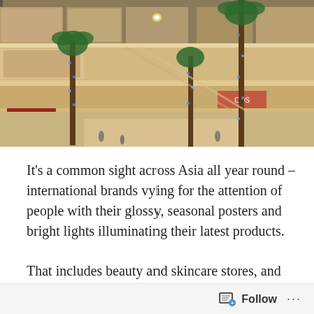[Figure (photo): Interior of a large multi-story shopping mall in Asia, showing multiple floors with storefronts, palm trees decorated with blue lights, escalators, and shoppers on the ground floor.]
It’s a common sight across Asia all year round – international brands vying for the attention of people with their glossy, seasonal posters and bright lights illuminating their latest products.
That includes beauty and skincare stores, and we know what to expect. For Denise Neri, retail
Follow ...